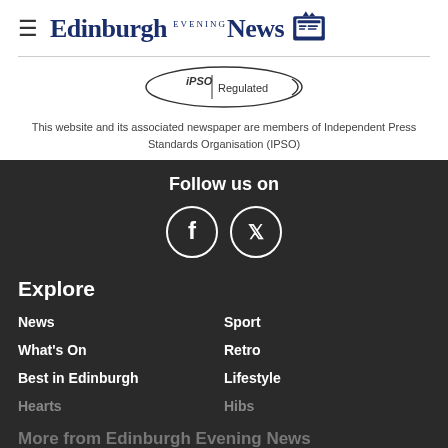Edinburgh Evening News
[Figure (logo): IPSO Regulated badge/seal]
This website and its associated newspaper are members of Independent Press Standards Organisation (IPSO)
Follow us on
[Figure (illustration): Facebook and Twitter social media icons (white circles with logos)]
Explore
News
Sport
What's On
Retro
Best in Edinburgh
Lifestyle
Hearts
Hibs
More from Edinburgh Evening News